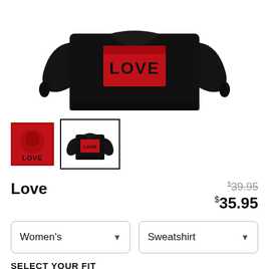[Figure (photo): Black crewneck sweatshirt with a red rectangular graphic print on the chest area showing 'LOVE' text in bold black letters on a red background, photographed from front/slightly above on white background]
[Figure (photo): Two product thumbnails: first is a close-up of the red LOVE graphic design with 'LOVE' text, second (selected, with black border) shows the full black sweatshirt with the red LOVE graphic]
Love
$39.95 (strikethrough) $35.95
Women's (dropdown) | Sweatshirt (dropdown)
SELECT YOUR FIT